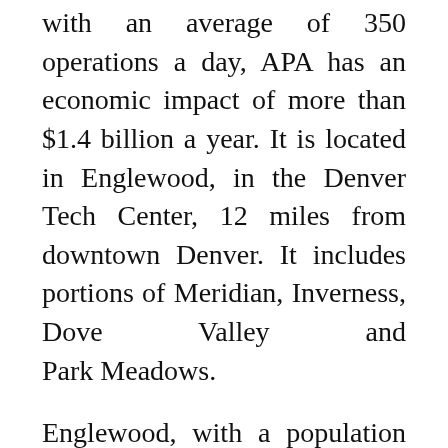with an average of 350 operations a day, APA has an economic impact of more than $1.4 billion a year. It is located in Englewood, in the Denver Tech Center, 12 miles from downtown Denver. It includes portions of Meridian, Inverness, Dove Valley and Park Meadows.
Englewood, with a population of about 30,000, is in the South Platte River Valley east of the Front Range and considered part of the Denver–Aurora Metropolitan Area.
When the airport opened in 1968, it was called the Arapahoe County Airport. It was renamed in 1984 in anticipation of the anniversary of its admission to the Union as the 38th state in